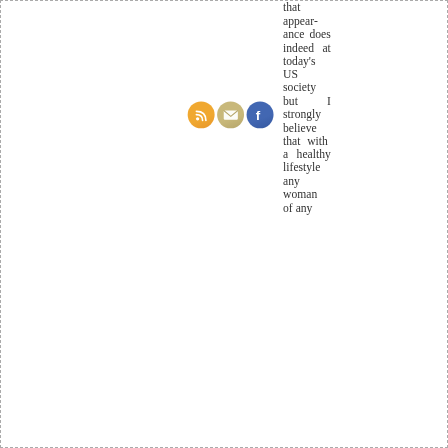that appearance does indeed at today's US society but I strongly believe that with a healthy lifestyle any woman of any
[Figure (illustration): Three social media / sharing icons in a row: RSS feed icon (orange circle with white WiFi-like symbol), Email icon (tan/khaki circle with white envelope), Facebook icon (blue circle with white 'f' logo)]